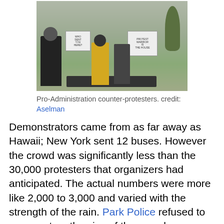[Figure (photo): Pro-Administration counter-protesters holding signs in a park on a rainy day. People in dark and yellow jackets with protest signs visible.]
Pro-Administration counter-protesters. credit: Aselman
Demonstrators came from as far away as Hawaii; New York sent 12 buses. However the crowd was significantly less than the 30,000 protesters that organizers had anticipated. The actual numbers were more like 2,000 to 3,000 and varied with the strength of the rain. Park Police refused to comment on the size of the crowd.
A series of speakers included a 96 year old great grandmother, and a Georgetown law student that led a protest against a speech given by Attorney General Gonzales. The speeches were followed by the dropping of